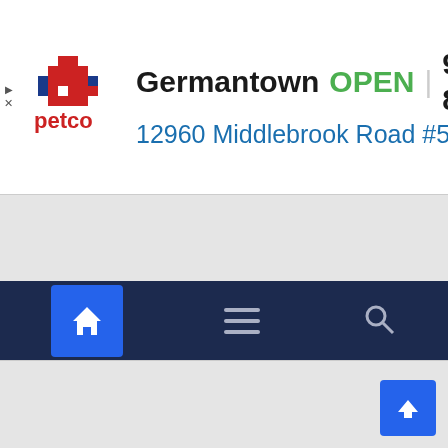[Figure (screenshot): Petco advertisement banner showing Germantown store: OPEN, 9AM-8PM, 12960 Middlebrook Road #5... with Petco logo and navigation arrow icon]
[Figure (map): Mobile app map area showing grey/empty map background with a collapsed panel tab (chevron up) in the upper left]
[Figure (screenshot): Mobile app bottom navigation bar with home icon (active/blue), hamburger menu icon, and search/magnifying glass icon on dark navy background]
[Figure (screenshot): Bottom section of mobile app with grey background and a blue scroll-to-top button with upward chevron in the bottom right corner]